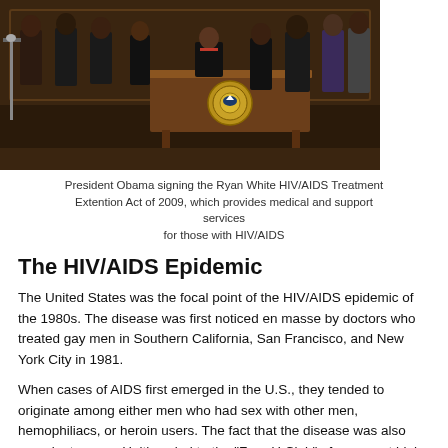[Figure (photo): President Obama signing the Ryan White HIV/AIDS Treatment Extension Act of 2009, with several people standing around a wooden desk bearing the Presidential Seal.]
President Obama signing the Ryan White HIV/AIDS Treatment Extention Act of 2009, which provides medical and support services for those with HIV/AIDS
The HIV/AIDS Epidemic
The United States was the focal point of the HIV/AIDS epidemic of the 1980s. The disease was first noticed en masse by doctors who treated gay men in Southern California, San Francisco, and New York City in 1981.
When cases of AIDS first emerged in the U.S., they tended to originate among either men who had sex with other men, hemophiliacs, or heroin users. The fact that the disease was also prevalent among Haitians led to the "Four-H Club" of groups at high risk of AIDS.
Though some people believe that AIDS began in the U.S. in the 80's, that is actually the decade when it gained